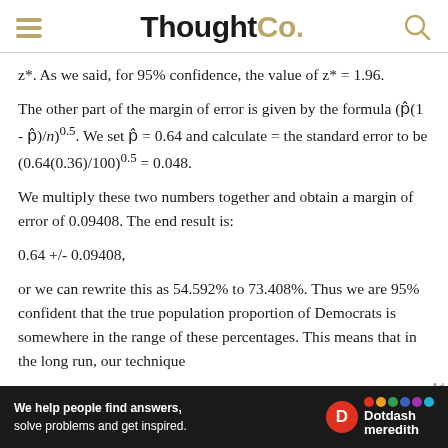ThoughtCo.
z*. As we said, for 95% confidence, the value of z* = 1.96.
The other part of the margin of error is given by the formula (p̂(1 - p̂)/n)^0.5. We set p̂ = 0.64 and calculate = the standard error to be (0.64(0.36)/100)^0.5 = 0.048.
We multiply these two numbers together and obtain a margin of error of 0.09408. The end result is:
0.64 +/- 0.09408,
or we can rewrite this as 54.592% to 73.408%. Thus we are 95% confident that the true population proportion of Democrats is somewhere in the range of these percentages. This means that in the long run, our technique
[Figure (other): Dotdash Meredith advertisement banner: 'We help people find answers, solve problems and get inspired.']